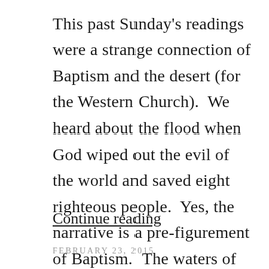This past Sunday's readings were a strange connection of Baptism and the desert (for the Western Church).  We heard about the flood when God wiped out the evil of the world and saved eight righteous people.  Yes, the narrative is a pre-figurement of Baptism.  The waters of the flood cleanse the earth. We also see ...
Continue reading
FEBRUARY 23, 2015